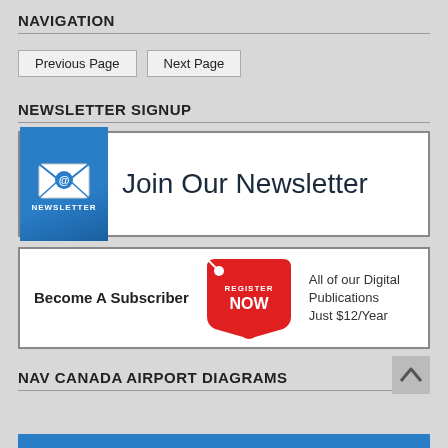NAVIGATION
Previous Page | Next Page
NEWSLETTER SIGNUP
[Figure (illustration): Newsletter signup banner: blue icon with envelope and @ symbol labeled NEWSLETTER, text reads Join Our Newsletter]
[Figure (illustration): Subscriber banner: Become A Subscriber, red tag with REGISTER NOW, All of our Digital Publications Just $12/Year]
NAV CANADA AIRPORT DIAGRAMS